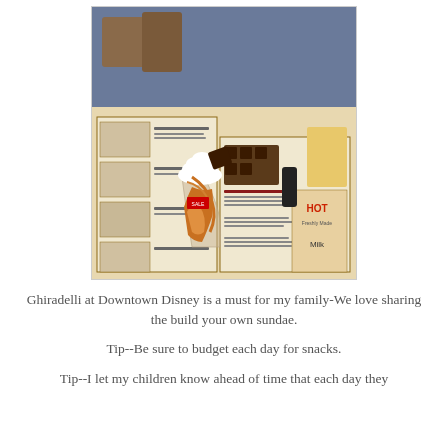[Figure (photo): A photo of a large ice cream sundae with whipped cream and caramel sauce in a glass, sitting on a Ghiradelli restaurant menu. The menu shows various sundae options including chocolate items. The setting appears to be the Ghiradelli restaurant at Downtown Disney.]
Ghiradelli at Downtown Disney is a must for my family-We love sharing the build your own sundae.
Tip--Be sure to budget each day for snacks.
Tip--I let my children know ahead of time that each day they